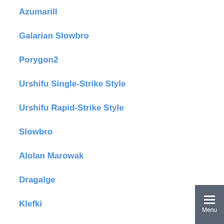Azumarill
Galarian Slowbro
Porygon2
Urshifu Single-Strike Style
Urshifu Rapid-Strike Style
Slowbro
Alolan Marowak
Dragalge
Klefki
Lycanroc (Dusk Form)